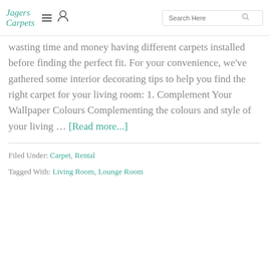Jagers Carpets | Search Here
wasting time and money having different carpets installed before finding the perfect fit. For your convenience, we've gathered some interior decorating tips to help you find the right carpet for your living room: 1. Complement Your Wallpaper Colours Complementing the colours and style of your living … [Read more...]
Filed Under: Carpet, Rental
Tagged With: Living Room, Lounge Room